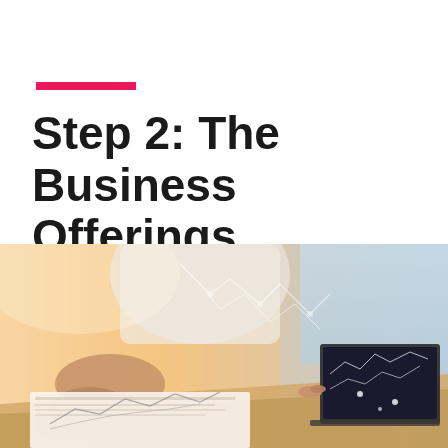Step 2: The Business Offerings
[Figure (photo): Business professional pointing at financial charts and data on a desk with a laptop displaying digital network overlays in the background]